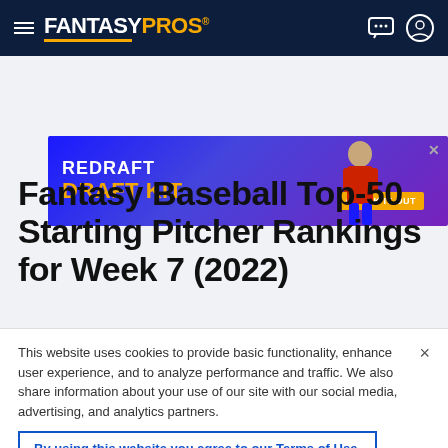FantasyPros
[Figure (other): FantasyPros advertisement banner: REDRAFT DRAFT KIT - CHECK IT OUT]
Fantasy Baseball Top-50 Starting Pitcher Rankings for Week 7 (2022)
This website uses cookies to provide basic functionality, enhance user experience, and to analyze performance and traffic. We also share information about your use of our site with our social media, advertising, and analytics partners.
By using this website you agree to our Terms of Use.
Do Not Sell My Personal Information
Accept Cookies